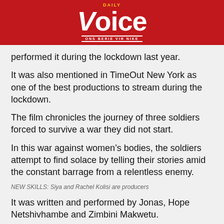DAILY Voice ONS BERIE VIR NIKE
performed it during the lockdown last year.
It was also mentioned in TimeOut New York as one of the best productions to stream during the lockdown.
The film chronicles the journey of three soldiers forced to survive a war they did not start.
In this war against women’s bodies, the soldiers attempt to find solace by telling their stories amid the constant barrage from a relentless enemy.
NEW SKILLS: Siya and Rachel Kolisi are producers
It was written and performed by Jonas, Hope Netshivhambe and Zimbini Makwetu.